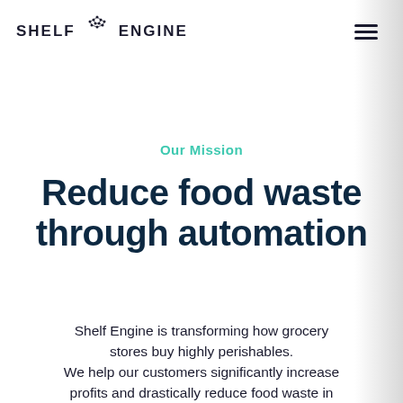SHELF ENGINE
Our Mission
Reduce food waste through automation
Shelf Engine is transforming how grocery stores buy highly perishables. We help our customers significantly increase profits and drastically reduce food waste in thousands of retail locations across the